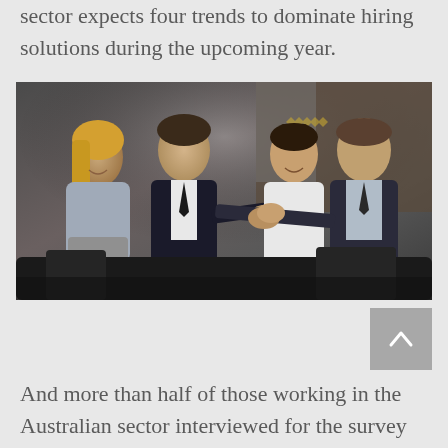sector expects four trends to dominate hiring solutions during the upcoming year.
[Figure (photo): Four business professionals in an office lobby setting — two men and two women — with two of them shaking hands, suggesting a job interview or business meeting conclusion.]
And more than half of those working in the Australian sector interviewed for the survey said new interview tools would